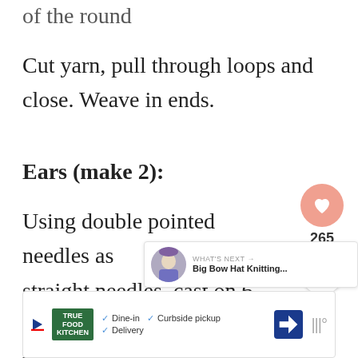of the round
Cut yarn, pull through loops and close. Weave in ends.
Ears (make 2):
Using double pointed needles as straight needles, cast on 6 stitches using the black yarn. Leave a long tail to stitch the ears to the hat.